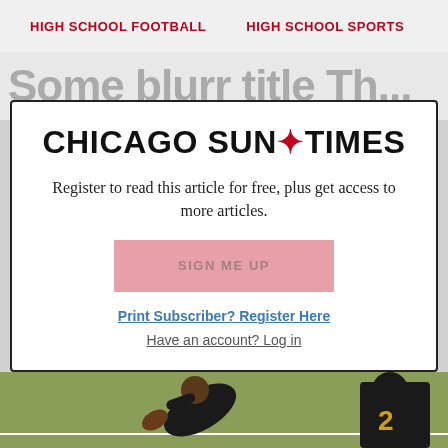HIGH SCHOOL FOOTBALL   HIGH SCHOOL SPORTS
[Figure (photo): Football players in action on a field, wearing black uniforms with gold numbers, one player diving with the ball]
CHICAGO SUN*TIMES
Register to read this article for free, plus get access to more articles.
SIGN ME UP
Print Subscriber? Register Here
Have an account? Log in